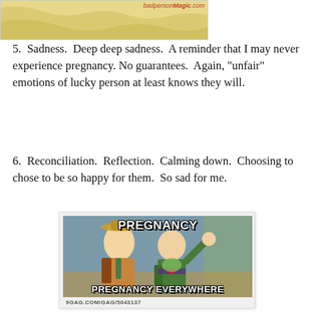[Figure (illustration): Partial image of a map or illustration with yellow/tan coloring, with a watermark reading 'badperson.com' visible at top right]
5.  Sadness.  Deep deep sadness.  A reminder that I may never experience pregnancy.  No guarantees.  Again, "unfair" emotions of lucky person at least knows they will.
6.  Reconciliation.  Reflection.  Calming down.  Choosing to chose to be so happy for them.  So sad for me.
[Figure (illustration): Toy Story meme with Woody and Buzz Lightyear. Top text: PREGNANCY. Bottom text: PREGNANCY EVERYWHERE. Source watermark: 9GAG.COM/GAG/5043137]